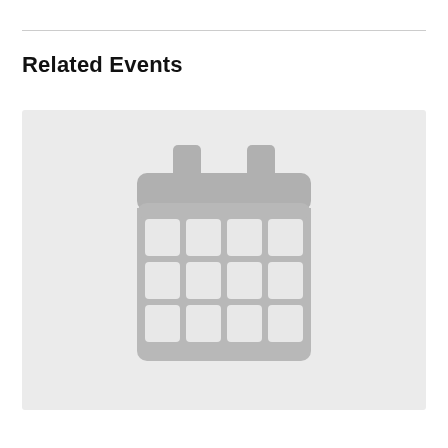Related Events
[Figure (illustration): A grey placeholder calendar icon on a light grey background, showing a calendar with a header bar, two tab/binding rings at top, and a 4-column by 3-row grid of date squares below.]